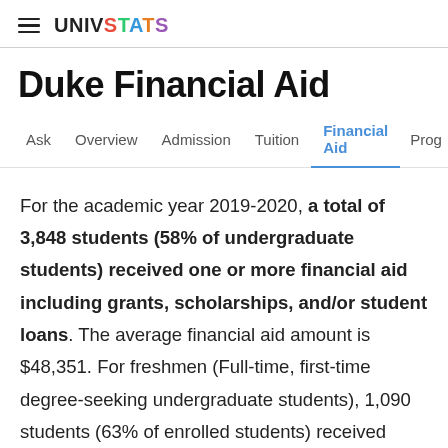UNIVSTATS
Duke Financial Aid
Ask  Overview  Admission  Tuition  Financial Aid  Prog
For the academic year 2019-2020, a total of 3,848 students (58% of undergraduate students) received one or more financial aid including grants, scholarships, and/or student loans. The average financial aid amount is $48,351. For freshmen (Full-time, first-time degree-seeking undergraduate students), 1,090 students (63% of enrolled students) received